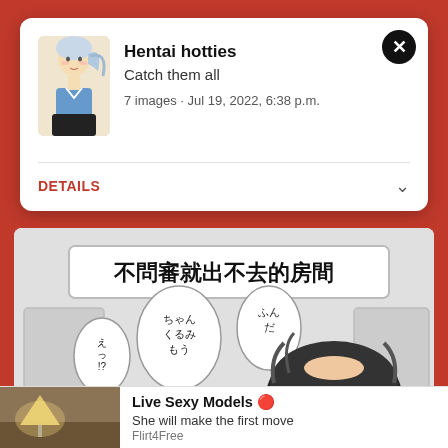Hentai hotties
Catch them all
7 images · Jul 19, 2022, 6:38 p.m.
DETAILS
[Figure (screenshot): Manga panel with Chinese text characters and speech bubbles, showing a character from behind]
Live Sexy Models 🔴
She will make the first move
Flirt4Free